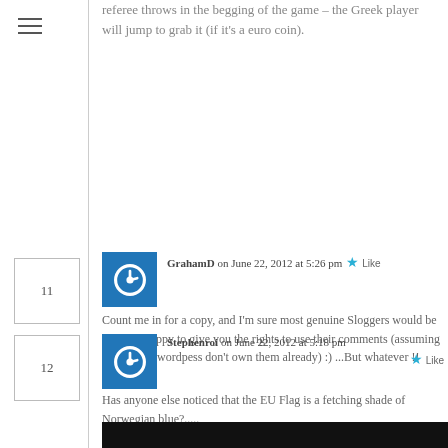referee throws in the begging of the game – the Greek player will jump to grab it (if it's a euro coin).
GrahamD on June 22, 2012 at 5:26 pm
Count me in for a copy, and I'm sure most genuine Sloggers would be only too happy to give you the rights to use their comments (assuming that you or wordpess don't own them already) :) ...But whatever !!
Stephenroi on June 22, 2012 at 5:18 pm
Has anyone else noticed that the EU Flag is a fetching shade of Norwegian blue?.....